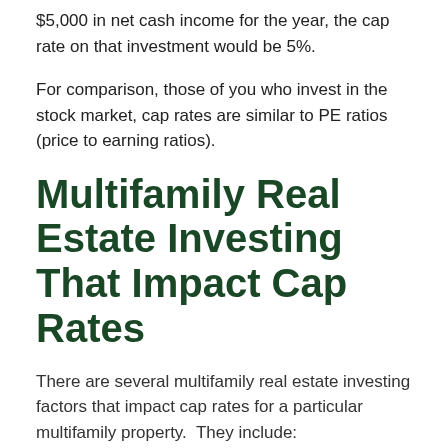$5,000 in net cash income for the year, the cap rate on that investment would be 5%.
For comparison, those of you who invest in the stock market, cap rates are similar to PE ratios (price to earning ratios).
Multifamily Real Estate Investing That Impact Cap Rates
There are several multifamily real estate investing factors that impact cap rates for a particular multifamily property.  They include: